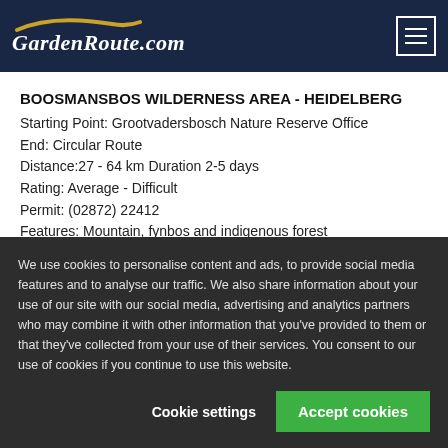GardenRoute.com
BOOSMANSBOS WILDERNESS AREA - HEIDELBERG
Starting Point: Grootvadersbosch Nature Reserve Office
End: Circular Route
Distance:27 - 64 km Duration 2-5 days
Rating: Average - Difficult
Permit: (02872) 22412
Features: Mountain, fynbos and indigenous forest
We use cookies to personalise content and ads, to provide social media features and to analyse our traffic. We also share information about your use of our site with our social media, advertising and analytics partners who may combine it with other information that you've provided to them or that they've collected from your use of their services. You consent to our use of cookies if you continue to use this website.
Cookie settings
Accept cookies